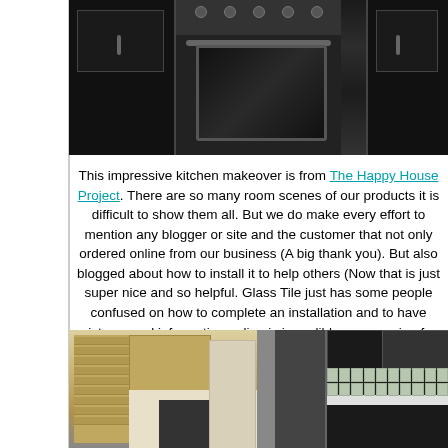[Figure (photo): Kitchen with dark/black cabinets and a stainless steel oven/range in the center, before-and-after kitchen makeover photo (top view showing dark cabinets)]
This impressive kitchen makeover is from The Happy House Project. There are so many room scenes of our products it is difficult to show them all. But we do make every effort to mention any blogger or site and the customer that not only ordered online from our business (A big thank you). But also blogged about how to install it to help others (Now that is just super nice and so helpful. Glass Tile just has some people confused on how to complete an installation and to have pictures and information online is incredibly encouraging for everyone).
[Figure (photo): Before and after photos of a kitchen makeover — left photo shows light wood/tan cabinets before renovation, right photo shows dark black cabinets with tile backsplash after renovation]